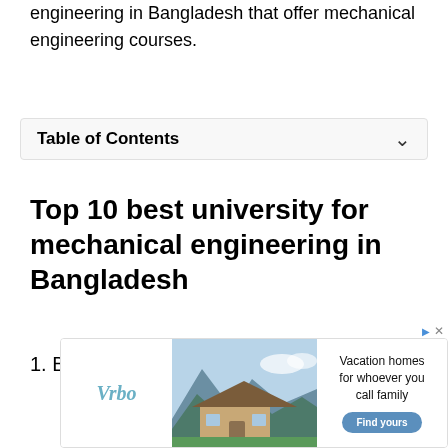engineering in Bangladesh that offer mechanical engineering courses.
Table of Contents
Top 10 best university for mechanical engineering in Bangladesh
1. Bangladesh University of Engineering and Technology
[Figure (other): Vrbo advertisement banner showing a mountain vacation home with tagline 'Vacation homes for whoever you call family' and a 'Find yours' button]